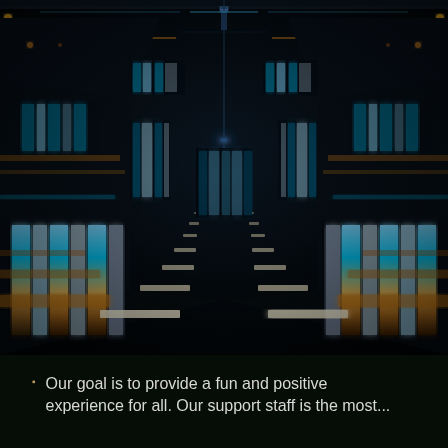[Figure (photo): A symmetrical sci-fi tunnel corridor with glowing cyan and amber/orange neon light strips on the walls and floor, receding into the distance with a dark background. The image has a futuristic, cyberpunk aesthetic with reflective surfaces.]
Our goal is to provide a fun and positive experience for all. Our support staff is the most...